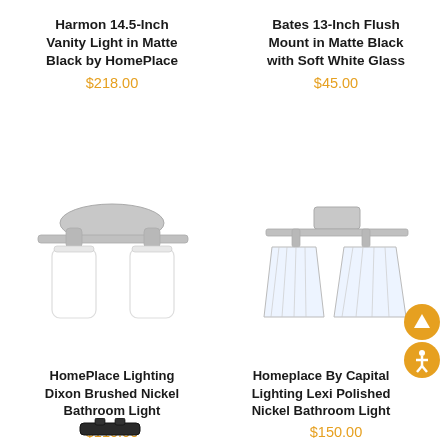Harmon 14.5-Inch Vanity Light in Matte Black by HomePlace
$218.00
[Figure (photo): Two-light bathroom vanity fixture in brushed nickel with white frosted cylindrical glass shades]
Bates 13-Inch Flush Mount in Matte Black with Soft White Glass
$45.00
[Figure (photo): Two-light bathroom vanity fixture in brushed/polished nickel with clear ribbed trapezoidal glass shades]
HomePlace Lighting Dixon Brushed Nickel Bathroom Light
$110.00
Homeplace By Capital Lighting Lexi Polished Nickel Bathroom Light
$150.00
[Figure (photo): Partial view of a black bathroom light fixture at the bottom of the page]